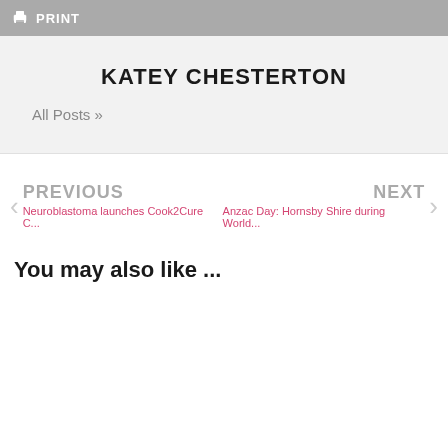PRINT
KATEY CHESTERTON
All Posts »
PREVIOUS
Neuroblastoma launches Cook2Cure C...
NEXT
Anzac Day: Hornsby Shire during World...
You may also like ...